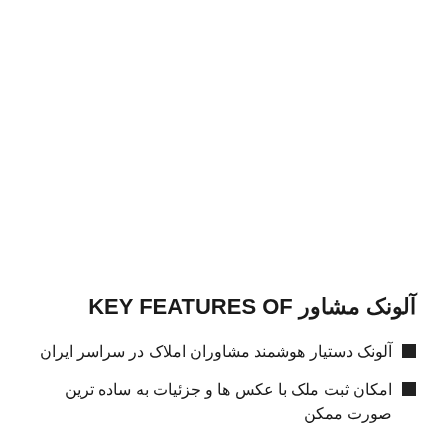KEY FEATURES OF مشاور آلونک
آلونک دستیار هوشمند مشاوران املاک در سراسر ایران
امکان ثبت ملک با عکس ها و جزئیات به ساده ترین صورت ممکن